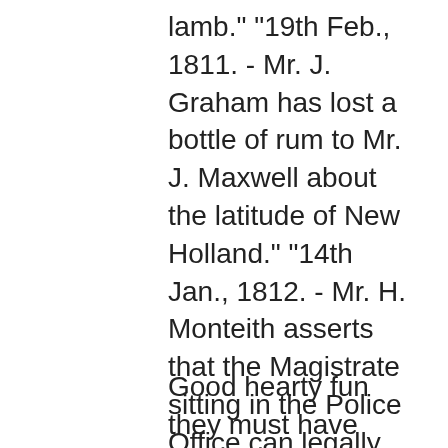lamb." "19th Feb., 1811. - Mr. J. Graham has lost a bottle of rum to Mr. J. Maxwell about the latitude of New Holland." "14th Jan., 1812. - Mr. H. Monteith asserts that the Magistrate sitting in the Police Office can legally fine without any of the Town Clerks being present. Mr. Hunter denies that he can - a bottle of rum. Mr. Reddie to decide." "17th Nov., 1812 - Mr. William Stirling bets a bottle of rum and ten guineas with Mr. James Monteath that Mr. John Douglas does not charge anything for his trouble as agent for Mr. Finlay in the late election. Mr. Monteath bets that he does make a charge."
Good hearty fun they must have had, too:- "13th Oct., 1812. - Mr. William Stirling has lost a bottle of rum to the Club relative to